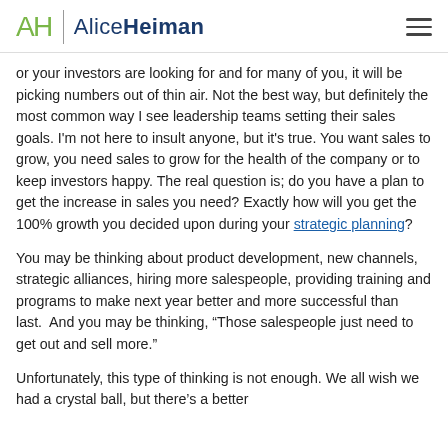AH | AliceHeiman
or your investors are looking for and for many of you, it will be picking numbers out of thin air. Not the best way, but definitely the most common way I see leadership teams setting their sales goals. I'm not here to insult anyone, but it's true. You want sales to grow, you need sales to grow for the health of the company or to keep investors happy. The real question is; do you have a plan to get the increase in sales you need? Exactly how will you get the 100% growth you decided upon during your strategic planning?
You may be thinking about product development, new channels, strategic alliances, hiring more salespeople, providing training and programs to make next year better and more successful than last.  And you may be thinking, “Those salespeople just need to get out and sell more.”
Unfortunately, this type of thinking is not enough. We all wish we had a crystal ball, but there’s a better